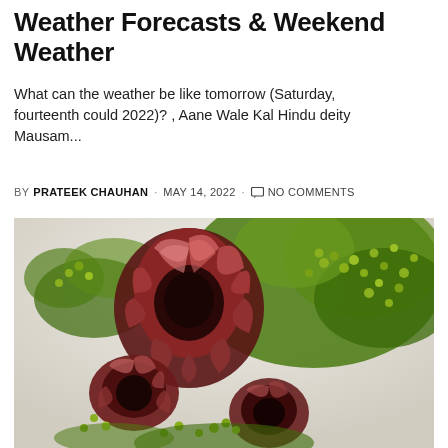Weather Forecasts & Weekend Weather
What can the weather be like tomorrow (Saturday, fourteenth could 2022)? , Aane Wale Kal Hindu deity Mausam...
BY PRATEEK CHAUHAN · MAY 14, 2022 · NO COMMENTS
[Figure (photo): Close-up photograph of red and pink protea flowers with green foliage and small round yellow-green berries, arranged in a bouquet against a light background.]